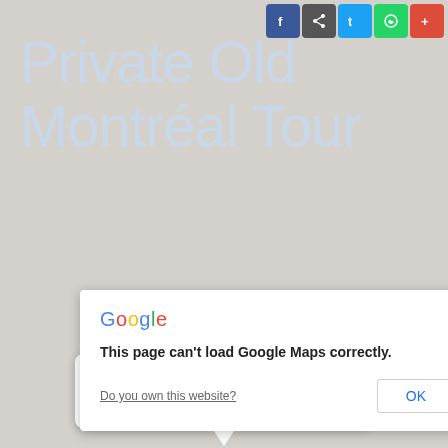Social share icons: Facebook, Share, Twitter, WhatsApp, Google+
Private Old Montréal Tour
[Figure (screenshot): Google Maps error dialog: 'This page can't load Google Maps correctly.' with 'Do you own this website?' link and OK button. Below is a map info bubble showing 'Basilica, 110 Notre-Dame West - Montreal, Events' with a red map pin marker on a gray map background.]